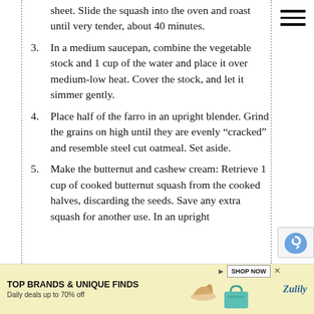sheet. Slide the squash into the oven and roast until very tender, about 40 minutes.
3. In a medium saucepan, combine the vegetable stock and 1 cup of the water and place it over medium-low heat. Cover the stock, and let it simmer gently.
4. Place half of the farro in an upright blender. Grind the grains on high until they are evenly “cracked” and resemble steel cut oatmeal. Set aside.
5. Make the butternut and cashew cream: Retrieve 1 cup of cooked butternut squash from the cooked halves, discarding the seeds. Save any extra squash for another use. In an upright blender, combine the squash,
[Figure (other): Advertisement banner: TOP BRANDS & UNIQUE FINDS, Daily deals up to 70% off, with shoe and bag images, SHOP NOW button, and Zulily branding]